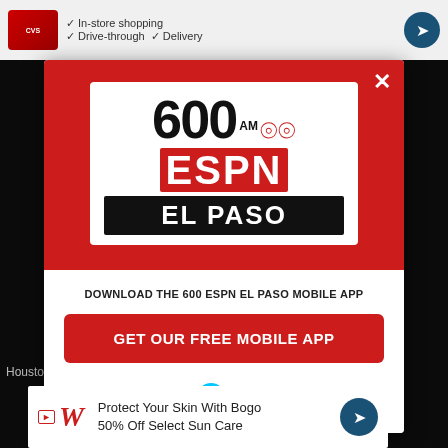[Figure (screenshot): Screenshot of a webpage showing a modal popup for 600 AM ESPN El Paso radio station app download. The modal has a red top section with the 600 AM ESPN El Paso logo, a white bottom section with a download prompt, a red 'GET OUR FREE MOBILE APP' button, and an 'Also listen on: amazon alexa' section. Behind the modal is a dimmed webpage. A CVS advertisement banner appears at the top and a Walgreens advertisement appears at the bottom.]
DOWNLOAD THE 600 ESPN EL PASO MOBILE APP
GET OUR FREE MOBILE APP
Also listen on: amazon alexa
Protect Your Skin With Bogo 50% Off Select Sun Care